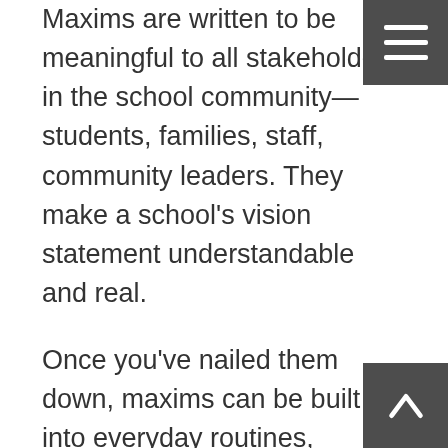Maxims are written to be meaningful to all stakeholders in the school community—students, families, staff, community leaders. They make a school's vision statement understandable and real.
Once you've nailed them down, maxims can be built into everyday routines, instructional practices, hiring—anything related to student services. When this happens, your school's vision stays front of mind. And you start seeing improved student outcomes.
How Livingston High School did it